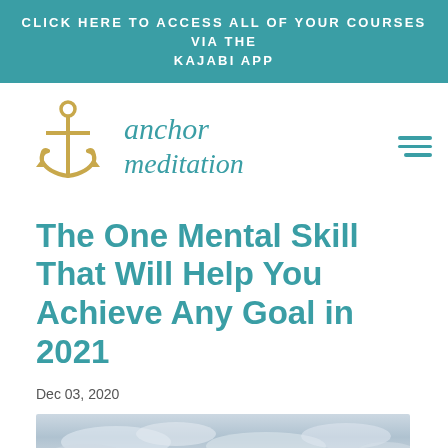CLICK HERE TO ACCESS ALL OF YOUR COURSES VIA THE KAJABI APP
[Figure (logo): Anchor Meditation logo with gold anchor icon and teal cursive text reading 'anchor meditation']
The One Mental Skill That Will Help You Achieve Any Goal in 2021
Dec 03, 2020
[Figure (photo): Partial photo showing a cloudy sky, cropped at bottom of page]